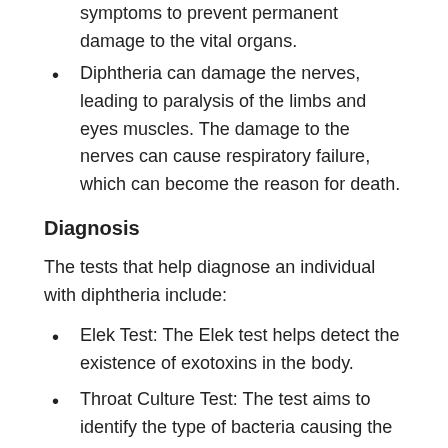symptoms to prevent permanent damage to the vital organs.
Diphtheria can damage the nerves, leading to paralysis of the limbs and eyes muscles. The damage to the nerves can cause respiratory failure, which can become the reason for death.
Diagnosis
The tests that help diagnose an individual with diphtheria include:
Elek Test: The Elek test helps detect the existence of exotoxins in the body.
Throat Culture Test: The test aims to identify the type of bacteria causing the person to suffer from the symptoms. It helps assess the severity of the condition, which helps opt for the best